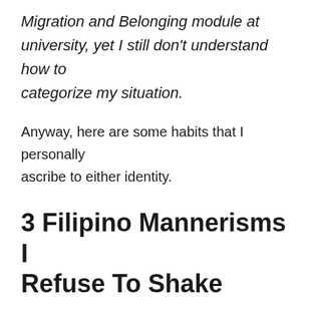Migration and Belonging module at university, yet I still don't understand how to categorize my situation.
Anyway, here are some habits that I personally ascribe to either identity.
3 Filipino Mannerisms I Refuse To Shake
Using the tsinelas
I can't help it! I can't subscribe to the idea of using shoes you wear constantly outdoors indoors. I